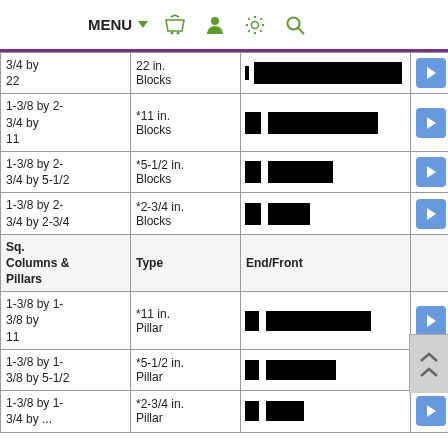MENU ▼ [basket icon] [user icon] [settings icon] [search icon]
| Size | Type | Image |  |
| --- | --- | --- | --- |
| 3/4 by 22 | 22 in. Blocks | [redacted image] | ▶ |
| 1-3/8 by 2-3/4 by 11 | *11 in. Blocks | [redacted image] | ▶ |
| 1-3/8 by 2-3/4 by 5-1/2 | *5-1/2 in. Blocks | [redacted image] | ▶ |
| 1-3/8 by 2-3/4 by 2-3/4 | *2-3/4 in. Blocks | [redacted image] | ▶ |
| Sq. Columns & Pillars | Type | End/Front |  |
| 1-3/8 by 1-3/8 by 11 | *11 in. Pillar | [redacted image] | ▶ |
| 1-3/8 by 1-3/8 by 5-1/2 | *5-1/2 in. Pillar | [redacted image] | ▶ |
| 1-3/8 by 1-3/4 by ... | *2-3/4 in. Pillar | [redacted image] | ▶ |